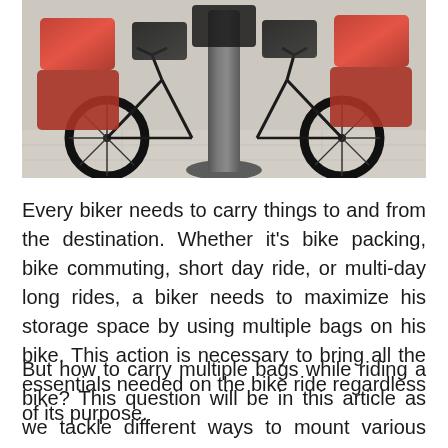[Figure (photo): Two bicycles loaded with red/black panniers and bags, leaning against or near a large metal post/bollard on a tiled surface]
Every biker needs to carry things to and from the destination. Whether it's bike packing, bike commuting, short day ride, or multi-day long rides, a biker needs to maximize his storage space by using multiple bags on his bike. This action is necessary to bring all the essentials needed on the bike ride regardless of its purpose.
But how to carry multiple bags while riding a bike? This question will be in this article as we tackle different ways to mount various bag accessories on the bike. Carrying things while